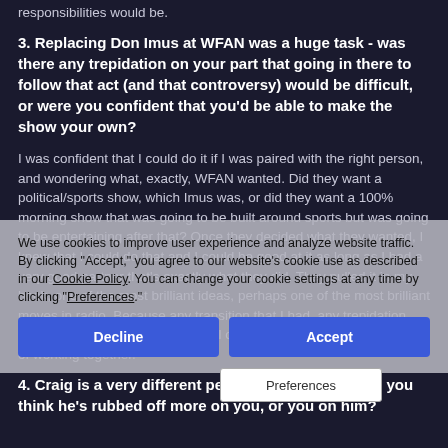responsibilities would be.
3. Replacing Don Imus at WFAN was a huge task - was there any trepidation on your part that going in there to follow that act (and that controversy) would be difficult, or were you confident that you'd be able to make the show your own?
I was confident that I could do it if I was paired with the right person, and wondering what, exactly, WFAN wanted. Did they want a political/sports show, which Imus was, or did they want a 100% morning show that was going to be built around sports but was going to be entertaining after that? Once they decided what they wanted, I knew that I could do that and I could be good at it as long as I had a very good partner that's exactly what they did. They pulled it in my book, one of the most brilliant ideas, perhaps one of the most brilliant moves in radio. Because any transition that I had, any trepidation that I might have had, he made all of that go away within two weeks of working together.
4. Craig is a very different personality from you. Do you think he's rubbed off more on you, or you on him?